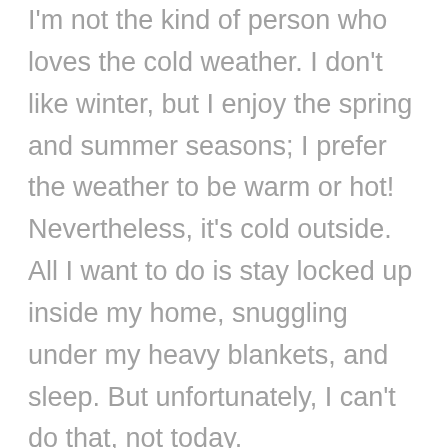I'm not the kind of person who loves the cold weather. I don't like winter, but I enjoy the spring and summer seasons; I prefer the weather to be warm or hot! Nevertheless, it's cold outside. All I want to do is stay locked up inside my home, snuggling under my heavy blankets, and sleep. But unfortunately, I can't do that, not today. It's Monday, already! Time for another work week. My weekend is over and I didn't have a chance to really rest; in fact, this past week was exhausting and somewhat stressful. On the other hand, this past week was fulfilling, delightful, enlightening, and invigorating! It was